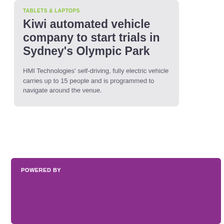TABLETS & LAPTOPS
Kiwi automated vehicle company to start trials in Sydney's Olympic Park
HMI Technologies' self-driving, fully electric vehicle carries up to 15 people and is programmed to navigate around the venue.
POWERED BY